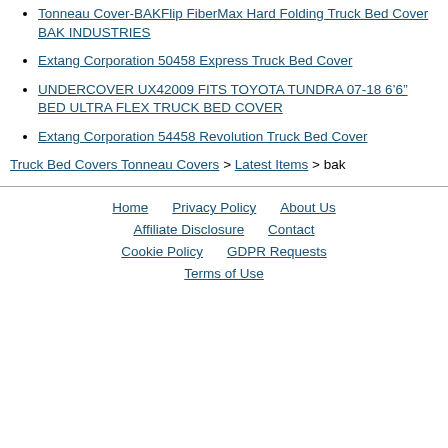Tonneau Cover-BAKFlip FiberMax Hard Folding Truck Bed Cover BAK INDUSTRIES
Extang Corporation 50458 Express Truck Bed Cover
UNDERCOVER UX42009 FITS TOYOTA TUNDRA 07-18 6'6" BED ULTRA FLEX TRUCK BED COVER
Extang Corporation 54458 Revolution Truck Bed Cover
Truck Bed Covers Tonneau Covers > Latest Items > bak
Home   Privacy Policy   About Us   Affiliate Disclosure   Contact   Cookie Policy   GDPR Requests   Terms of Use